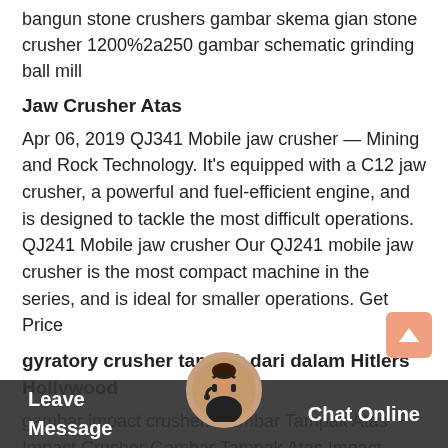bangun stone crushers gambar skema gian stone crusher 1200%2a250 gambar schematic grinding ball mill
Jaw Crusher Atas
Apr 06, 2019 QJ341 Mobile jaw crusher — Mining and Rock Technology. It's equipped with a C12 jaw crusher, a powerful and fuel-efficient engine, and is designed to tackle the most difficult operations. QJ241 Mobile jaw crusher Our QJ241 mobile jaw crusher is the most compact machine in the series, and is ideal for smaller operations. Get Price
gyratory crusher tampak dari dalam Hitlers Hollywood
gambar impact crusher. Gambar Tampak Atas Impact Crusher Gambar Tampak Atas Impact Crusher We are a largescale manufacturer specializing in producing various mining machines including all types of sand and gravel equipment milling equipment mineral processing equipment